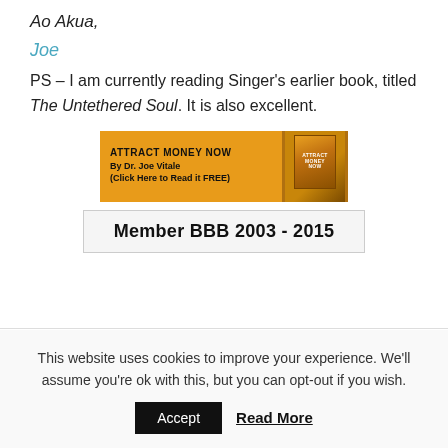Ao Akua,
Joe
PS – I am currently reading Singer's earlier book, titled The Untethered Soul. It is also excellent.
[Figure (infographic): Orange banner advertisement: ATTRACT MONEY NOW By Dr. Joe Vitale (Click Here to Read it FREE) with book cover image on the right]
Member BBB 2003 - 2015
This website uses cookies to improve your experience. We'll assume you're ok with this, but you can opt-out if you wish.